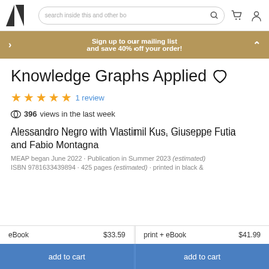[Figure (logo): Manning Publications logo - two angular shapes forming an M]
search inside this and other bo
Sign up to our mailing list and save 40% off your order!
Knowledge Graphs Applied
★★★★★ 1 review
396 views in the last week
Alessandro Negro with Vlastimil Kus, Giuseppe Futia and Fabio Montagna
MEAP began June 2022 · Publication in Summer 2023 (estimated) ISBN 9781633439894 · 425 pages (estimated) · printed in black &
| eBook | $33.59 | print + eBook | $41.99 |
| --- | --- | --- | --- |
add to cart | add to cart